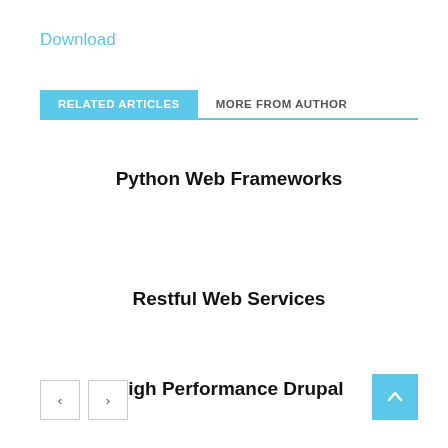Download
RELATED ARTICLES
MORE FROM AUTHOR
Python Web Frameworks
Restful Web Services
High Performance Drupal